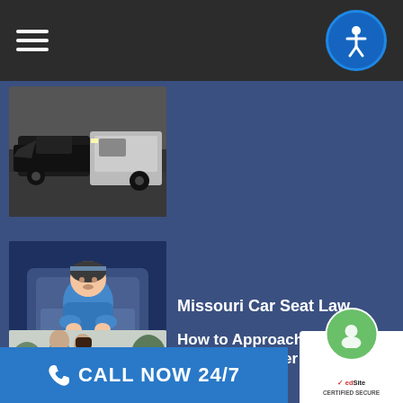Navigation bar with hamburger menu and accessibility button
[Figure (photo): Car crash scene showing damaged vehicles on wet road with emergency vehicles]
[Figure (photo): Infant in blue jacket sitting in a car seat]
Missouri Car Seat Law
[Figure (photo): Two people talking near a car after an accident outdoors]
How to Approach an Eyewitness after a Car Accident
CALL NOW 24/7